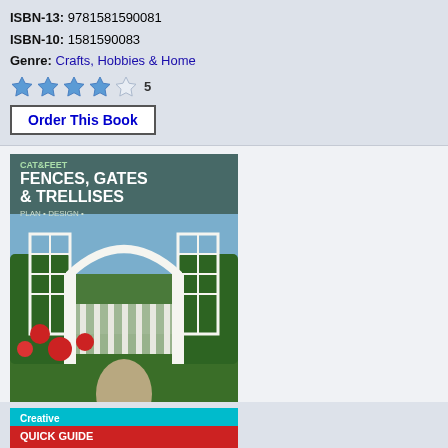ISBN-13: 9781581590081
ISBN-10: 1581590083
Genre: Crafts, Hobbies & Home
★★★★☆ 5
Order This Book
[Figure (photo): Book cover for Fences, Gates & Trellises showing a white arched garden gate with trellises and flowers]
1997 - Fences Gates and Trellises (Paperback)
ISBN-13: 9781880029961
ISBN-10: 1880029960
Genres: Crafts, Hobbies & Home, Science & Math, Engineering & Transportation
★★★★☆ 1
[Figure (logo): Buy from Amazon.com button with Amazon arrow logo]
[Figure (photo): Partial book cover at bottom, appears to be a Quick Guide book with cyan/red cover]